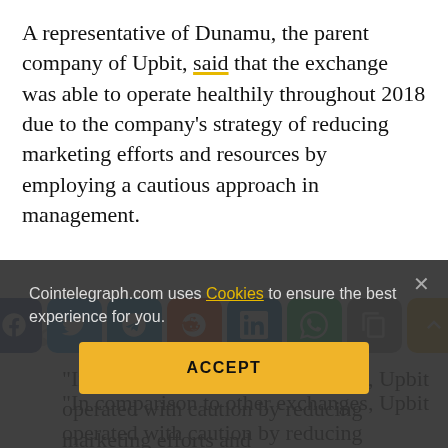A representative of Dunamu, the parent company of Upbit, said that the exchange was able to operate healthily throughout 2018 due to the company's strategy of reducing marketing efforts and resources by employing a cautious approach in management.
“In comparison to other exchanges, Upbit operated with caution by reducing marketing efforts and [continuing text partially obscured] ...in 2018 were generated in the first quarter of 2018 when the cryptocurrency market was hot. Upbit actually recorded an increase in revenues and operating profits in 2018.
Cointelegraph.com uses Cookies to ensure the best experience for you.
ACCEPT